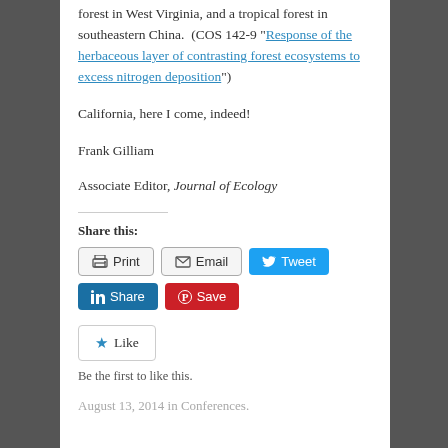forest in West Virginia, and a tropical forest in southeastern China. (COS 142-9 "Response of the herbaceous layer of contrasting forest ecosystems to excess nitrogen deposition")
California, here I come, indeed!
Frank Gilliam
Associate Editor, Journal of Ecology
Share this:
[Figure (other): Social share buttons: Print, Email, Tweet, LinkedIn Share, Pinterest Save]
[Figure (other): Like button]
Be the first to like this.
August 13, 2014 in Conferences.